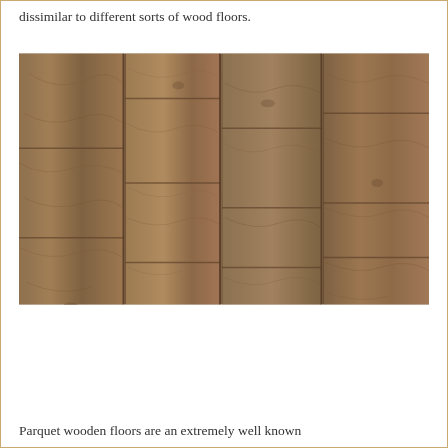dissimilar to different sorts of wood floors.
[Figure (photo): Close-up photograph of wood laminate flooring planks in a warm brown tone, showing natural wood grain texture and plank layout pattern.]
Parquet wooden floors are an extremely well known